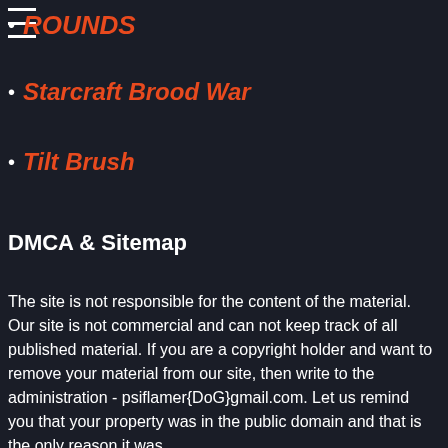ROUNDS
Starcraft Brood War
Tilt Brush
DMCA & Sitemap
The site is not responsible for the content of the material. Our site is not commercial and can not keep track of all published material. If you are a copyright holder and want to remove your material from our site, then write to the administration - psiflamer{DoG}gmail.com. Let us remind you that your property was in the public domain and that is the only reason it was